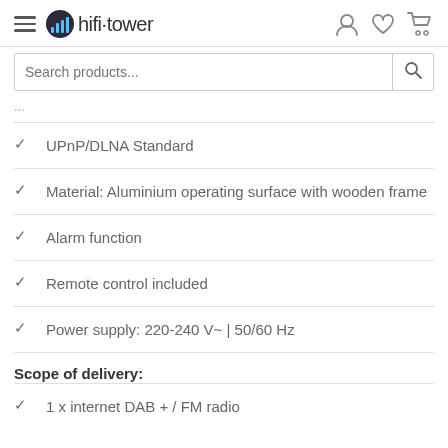hifi-tower
UPnP/DLNA Standard
Material: Aluminium operating surface with wooden frame
Alarm function
Remote control included
Power supply: 220-240 V~ | 50/60 Hz
Scope of delivery:
1 x internet DAB + / FM radio